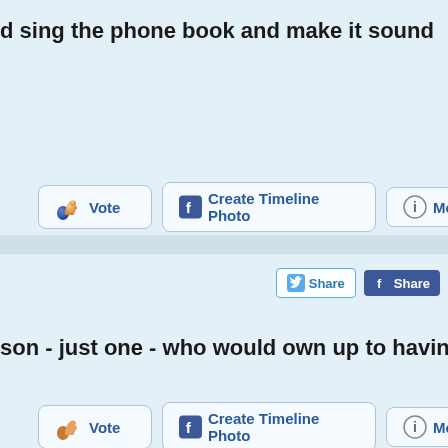d sing the phone book and make it sound
[Figure (screenshot): Vote button, Create Timeline Photo button, More info button row]
[Figure (screenshot): Twitter Share button and Facebook Share button row]
son - just one - who would own up to having
[Figure (screenshot): Vote button, Create Timeline Photo button, More info button row]